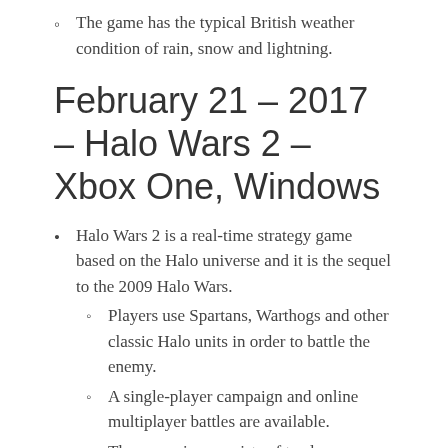The game has the typical British weather condition of rain, snow and lightning.
February 21 – 2017 – Halo Wars 2 – Xbox One, Windows
Halo Wars 2 is a real-time strategy game based on the Halo universe and it is the sequel to the 2009 Halo Wars.
Players use Spartans, Warthogs and other classic Halo units in order to battle the enemy.
A single-player campaign and online multiplayer battles are available.
The campaign consists of twelve missions and can also be played